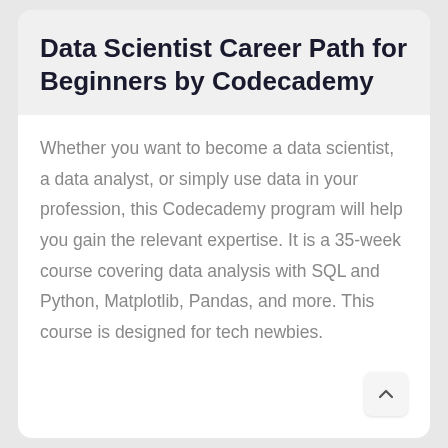Data Scientist Career Path for Beginners by Codecademy
Whether you want to become a data scientist, a data analyst, or simply use data in your profession, this Codecademy program will help you gain the relevant expertise. It is a 35-week course covering data analysis with SQL and Python, Matplotlib, Pandas, and more. This course is designed for tech newbies.